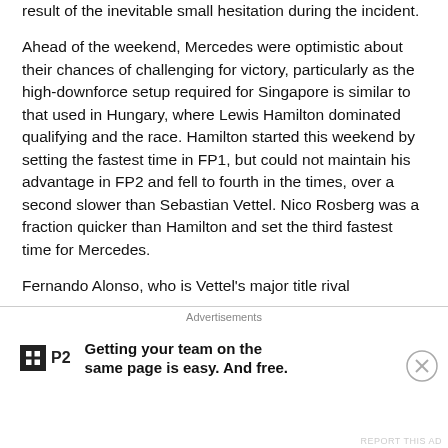result of the inevitable small hesitation during the incident.
Ahead of the weekend, Mercedes were optimistic about their chances of challenging for victory, particularly as the high-downforce setup required for Singapore is similar to that used in Hungary, where Lewis Hamilton dominated qualifying and the race. Hamilton started this weekend by setting the fastest time in FP1, but could not maintain his advantage in FP2 and fell to fourth in the times, over a second slower than Sebastian Vettel. Nico Rosberg was a fraction quicker than Hamilton and set the third fastest time for Mercedes.
Fernando Alonso, who is Vettel's major title rival
Advertisements
[Figure (other): P2 advertisement banner: logo box with grid icon, P2 text, and slogan 'Getting your team on the same page is easy. And free.']